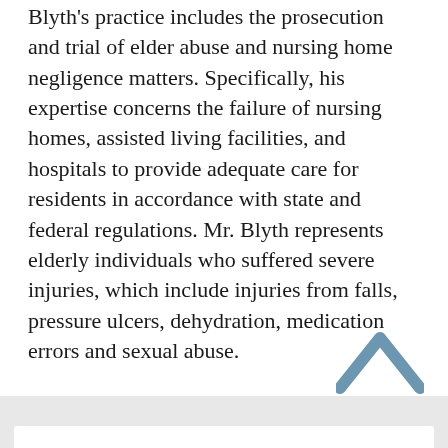Blyth's practice includes the prosecution and trial of elder abuse and nursing home negligence matters. Specifically, his expertise concerns the failure of nursing homes, assisted living facilities, and hospitals to provide adequate care for residents in accordance with state and federal regulations. Mr. Blyth represents elderly individuals who suffered severe injuries, which include injuries from falls, pressure ulcers, dehydration, medication errors and sexual abuse.
View Full Profile →
[Figure (illustration): A blue/steel-colored upward-pointing chevron arrow icon]